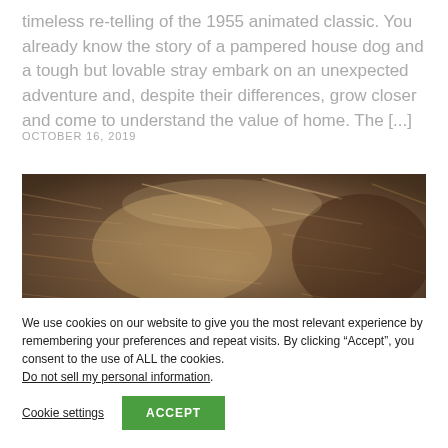timeless re-telling of the 1955 animated classic. You already know the story of a pampered house dog and a tough but lovable stray embark on an unexpected adventure and, despite their differences, grow closer and come to understand the value of home. The [...]
OCTOBER 16, 2019
[Figure (photo): Close-up photograph of animal fur, warm brown and golden tones, likely a dog]
We use cookies on our website to give you the most relevant experience by remembering your preferences and repeat visits. By clicking “Accept”, you consent to the use of ALL the cookies.
Do not sell my personal information.
Cookie settings
ACCEPT